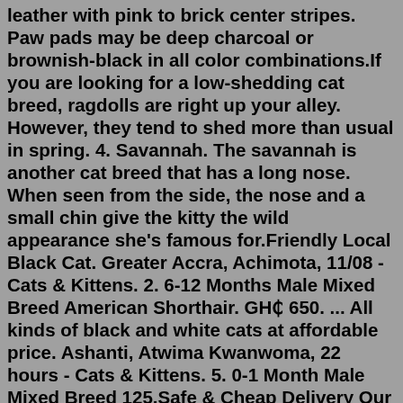leather with pink to brick center stripes. Paw pads may be deep charcoal or brownish-black in all color combinations.If you are looking for a low-shedding cat breed, ragdolls are right up your alley. However, they tend to shed more than usual in spring. 4. Savannah. The savannah is another cat breed that has a long nose. When seen from the side, the nose and a small chin give the kitty the wild appearance she's famous for.Friendly Local Black Cat. Greater Accra, Achimota, 11/08 - Cats & Kittens. 2. 6-12 Months Male Mixed Breed American Shorthair. GH₵ 650. ... All kinds of black and white cats at affordable price. Ashanti, Atwima Kwanwoma, 22 hours - Cats & Kittens. 5. 0-1 Month Male Mixed Breed 125.Safe & Cheap Delivery Our Serval and Savannah kittens already have all their papers and shots up to date. There is a steady affordable shipping and delivery option for all Countries. Wholesale Discounts Every Day Save 15%-20% when you buy 2 Litters. Available Kittens for sale CONTACT USWelcome to the Urban Safari Cattery, your best source for the finest